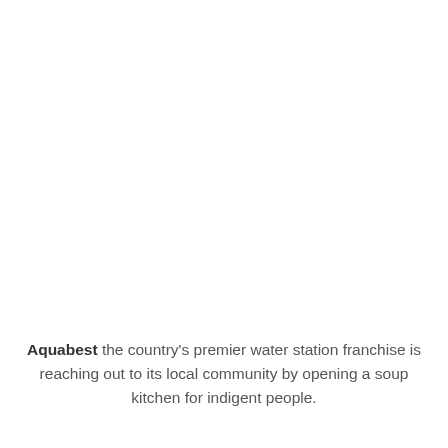Aquabest the country's premier water station franchise is reaching out to its local community by opening a soup kitchen for indigent people.